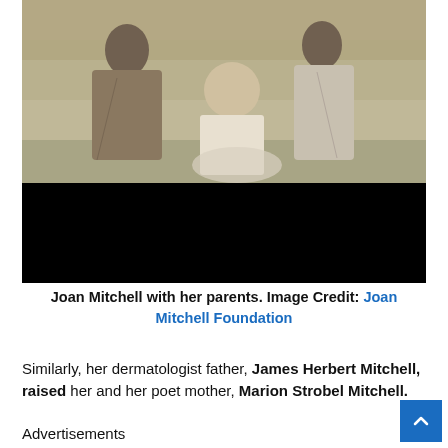[Figure (photo): Black and white vintage photo of Joan Mitchell as a baby with her parents sitting outdoors on grass. The upper portion shows the sepia-toned photograph; the lower portion of the image area is blacked out.]
Joan Mitchell with her parents. Image Credit: Joan Mitchell Foundation
Similarly, her dermatologist father, James Herbert Mitchell, raised her and her poet mother, Marion Strobel Mitchell.
Advertisements